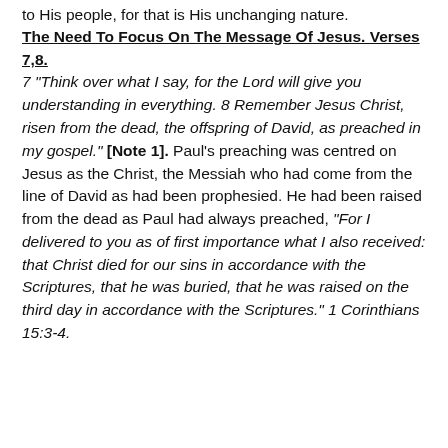to His people, for that is His unchanging nature.
The Need To Focus On The Message Of Jesus. Verses 7,8.
7 “Think over what I say, for the Lord will give you understanding in everything. 8 Remember Jesus Christ, risen from the dead, the offspring of David, as preached in my gospel.” [Note 1]. Paul’s preaching was centred on Jesus as the Christ, the Messiah who had come from the line of David as had been prophesied. He had been raised from the dead as Paul had always preached, “For I delivered to you as of first importance what I also received: that Christ died for our sins in accordance with the Scriptures, that he was buried, that he was raised on the third day in accordance with the Scriptures.” 1 Corinthians 15:3-4.